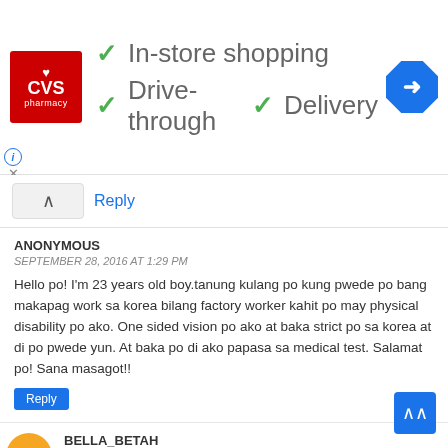[Figure (screenshot): CVS Pharmacy advertisement banner with checkmarks for In-store shopping, Drive-through, and Delivery, plus a navigation arrow icon]
Reply
ANONYMOUS
SEPTEMBER 28, 2016 AT 1:29 PM
Hello po! I'm 23 years old boy.tanung kulang po kung pwede po bang makapag work sa korea bilang factory worker kahit po may physical disability po ako. One sided vision po ako at baka strict po sa korea at di po pwede yun. At baka po di ako papasa sa medical test. Salamat po! Sana masagot!!
Reply
BELLA_BETAH
SEPTEMBER 29, 2016 AT 11:23 PM
Hi saranghae korea..ask lang po ako,it's for my brother in-law,yung former chef po nila sa boracay na isang korean,gusto po siya kunin to work for him as waiter in his restaurant in jeju,pareho po sila walang idea kung paano iprocess mga papers